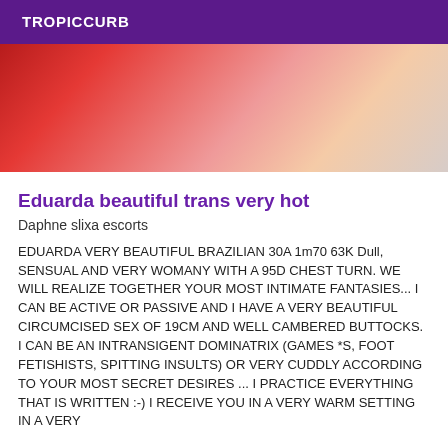TROPICCURB
[Figure (photo): Photo of a woman in a red top, partial view showing shoulders and upper body, dark hair]
Eduarda beautiful trans very hot
Daphne slixa escorts
EDUARDA VERY BEAUTIFUL BRAZILIAN 30A 1m70 63K Dull, SENSUAL AND VERY WOMANY WITH A 95D CHEST TURN. WE WILL REALIZE TOGETHER YOUR MOST INTIMATE FANTASIES... I CAN BE ACTIVE OR PASSIVE AND I HAVE A VERY BEAUTIFUL CIRCUMCISED SEX OF 19CM AND WELL CAMBERED BUTTOCKS. I CAN BE AN INTRANSIGENT DOMINATRIX (GAMES *S, FOOT FETISHISTS, SPITTING INSULTS) OR VERY CUDDLY ACCORDING TO YOUR MOST SECRET DESIRES ... I PRACTICE EVERYTHING THAT IS WRITTEN :-) I RECEIVE YOU IN A VERY WARM SETTING IN A VERY